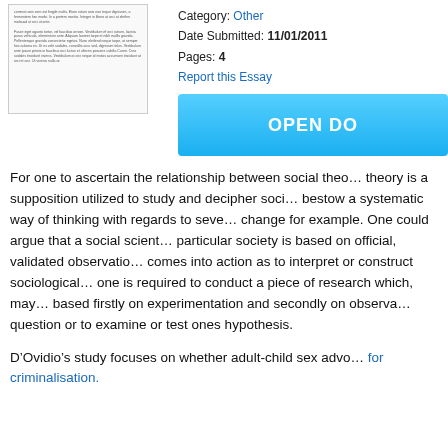[Figure (illustration): Thumbnail preview of a document page with small placeholder text]
Category: Other
Date Submitted: 11/01/2011
Pages: 4
Report this Essay
OPEN DO
For one to ascertain the relationship between social theo... theory is a supposition utilized to study and decipher soci... bestow a systematic way of thinking with regards to seve... change for example. One could argue that a social scient... particular society is based on official, validated observatio... comes into action as to interpret or construct sociological... one is required to conduct a piece of research which, may... based firstly on experimentation and secondly on observa... question or to examine or test ones hypothesis.
D'Ovidio's study focuses on whether adult-child sex advo... for criminalisation.